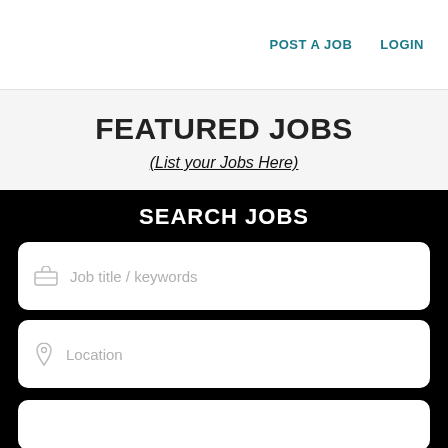POST A JOB   LOGIN
FEATURED JOBS
(List your Jobs Here)
SEARCH JOBS
Job title / keywords
Location